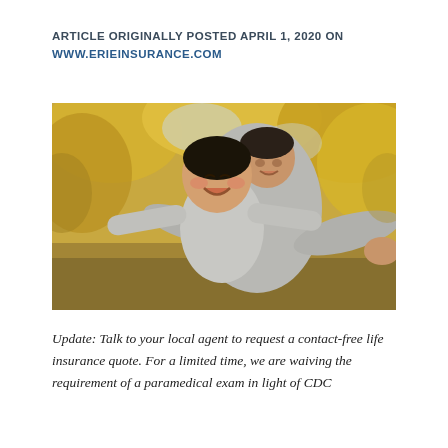ARTICLE ORIGINALLY POSTED APRIL 1, 2020 ON WWW.ERIEINSURANCE.COM
[Figure (photo): A smiling Asian father holding up a young child with arms outstretched like airplane wings, outdoors with golden autumn tree foliage in the background.]
Update: Talk to your local agent to request a contact-free life insurance quote. For a limited time, we are waiving the requirement of a paramedical exam in light of CDC